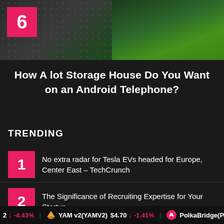[Figure (photo): Top banner image showing blurred dark/grey dots pattern on left and green surface on right, with number badge 6 in pink square overlay]
How A lot Storage House Do You Want on an Android Telephone?
TRENDING
No extra radar for Tesla EVs headed for Europe, Center East – TechCrunch
The Significance of Recruiting Expertise for Your Startup
Amazon Music for Prime members can be somewhat dearer beginning Might 5
2 ↓ -4.43%   YAM v2(YAMV2)  $4.70  ↓ -1.41%   PolkaBridge(P...